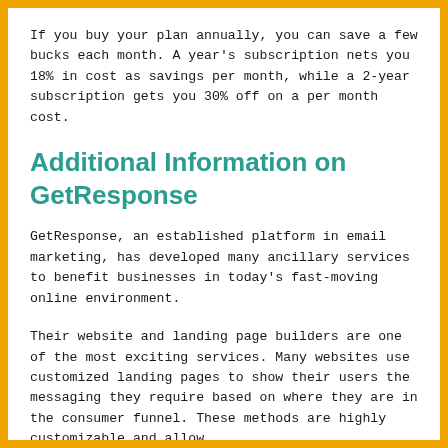If you buy your plan annually, you can save a few bucks each month. A year's subscription nets you 18% in cost as savings per month, while a 2-year subscription gets you 30% off on a per month cost.
Additional Information on GetResponse
GetResponse, an established platform in email marketing, has developed many ancillary services to benefit businesses in today's fast-moving online environment.
Their website and landing page builders are one of the most exciting services. Many websites use customized landing pages to show their users the messaging they require based on where they are in the consumer funnel. These methods are highly customizable and allow